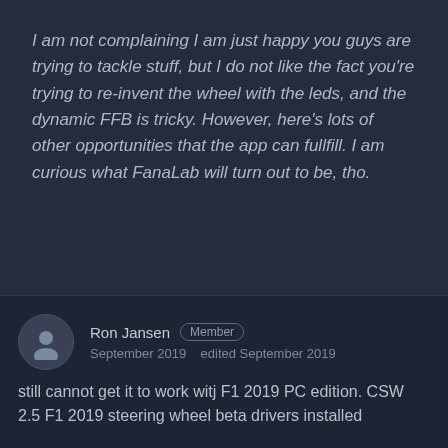I am not complaining I am just happy you guys are trying to tackle stuff, but I do not like the fact you're trying to re-invent the wheel with the leds, and the dynamic FFB is tricky. However, here's lots of other opportunities that the app can fullfill. I am curious what FanaLab will turn out to be, tho.
Ron Jansen Member September 2019  edited September 2019
still cannot get it to work witj F1 2019 PC edition. CSW 2.5 F1 2019 steering wheel beta drivers installed